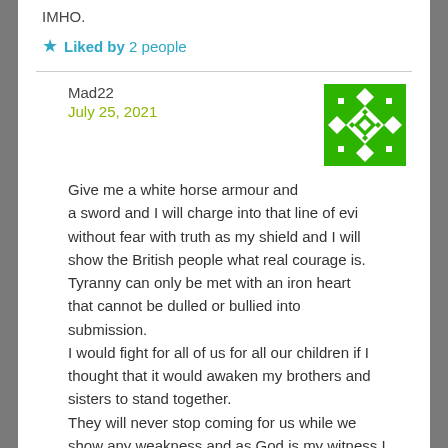IMHO.
Liked by 2 people
Mad22
July 25, 2021
[Figure (illustration): Green pixel/geometric avatar icon with white diamond/cross pattern]
Give me a white horse armour and a sword and I will charge into that line of evi without fear with truth as my shield and I will show the British people what real courage is. Tyranny can only be met with an iron heart that cannot be dulled or bullied into submission.
I would fight for all of us for all our children if I thought that it would awaken my brothers and sisters to stand together.
They will never stop coming for us while we show any weakness and as God is my witness I